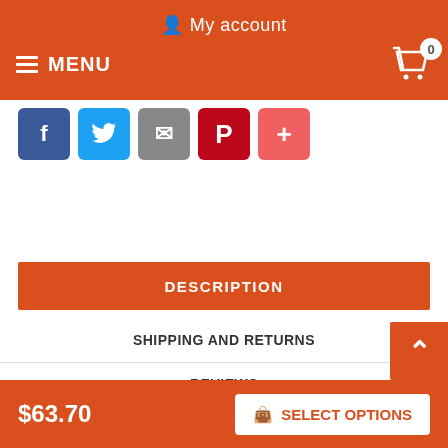My account
MENU
[Figure (screenshot): Social share buttons: Facebook (blue), Twitter (light blue), Email (grey), Pinterest (red), More (pink/red plus)]
DESCRIPTION
SHIPPING AND RETURNS
REVIEWS
Tremendous FDT Artisan White Leather Dog Collar with Studs 1 1/2 inch (40 mm)
$63.70
SELECT OPTIONS